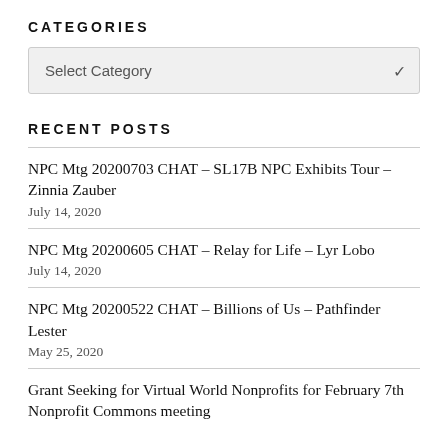CATEGORIES
Select Category
RECENT POSTS
NPC Mtg 20200703 CHAT – SL17B NPC Exhibits Tour – Zinnia Zauber
July 14, 2020
NPC Mtg 20200605 CHAT – Relay for Life – Lyr Lobo
July 14, 2020
NPC Mtg 20200522 CHAT – Billions of Us – Pathfinder Lester
May 25, 2020
Grant Seeking for Virtual World Nonprofits for February 7th Nonprofit Commons meeting